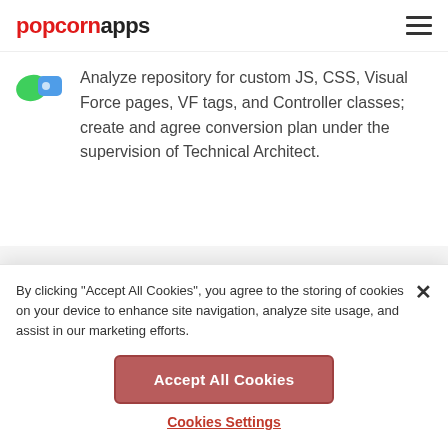popcornapps
[Figure (logo): Popcorn apps icon with green and blue colors]
Analyze repository for custom JS, CSS, Visual Force pages, VF tags, and Controller classes; create and agree conversion plan under the supervision of Technical Architect.
By clicking “Accept All Cookies”, you agree to the storing of cookies on your device to enhance site navigation, analyze site usage, and assist in our marketing efforts.
Accept All Cookies
Cookies Settings